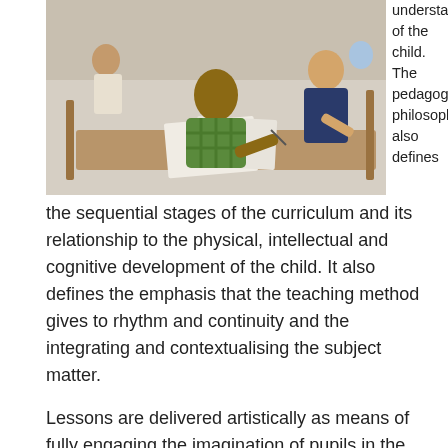[Figure (photo): A young student wearing a green plaid shirt writing at a desk, with a teacher leaning in and pointing at the work. Classroom setting with other students and wooden furniture in the background.]
understanding of the child. The pedagogical philosophy also defines the sequential stages of the curriculum and its relationship to the physical, intellectual and cognitive development of the child. It also defines the emphasis that the teaching method gives to rhythm and continuity and the integrating and contextualising the subject matter.
Lessons are delivered artistically as means of fully engaging the imagination of pupils in the learning process, regardless of the subject, whether it be mechanics or the binary system; the life of Napoleon, or meteorology. To teach artistically, therefore, is about being professional and committed, just as much as it is about being imaginative, responsive and providing a moral presence.
The human relationship in learning is also seen as crucial to